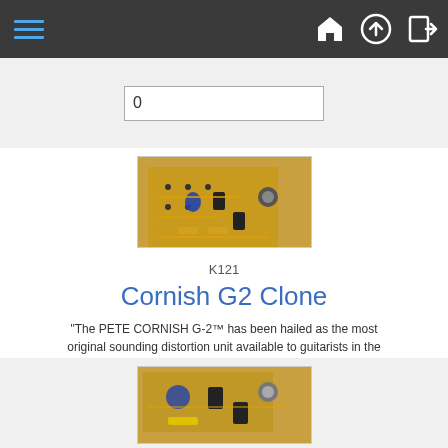Navigation bar with hamburger menu and icons (home, upload, login)
[Figure (photo): PCB circuit board kit for Cornish G2 Clone pedal, showing electronic components on a brown board]
K121
Cornish G2 Clone
"The PETE CORNISH G-2™ has been hailed as the most original sounding distortion unit available to guitarists in the Rock Arena." - build Pete...
£14.86
Add:
[Figure (photo): Partial view of another PCB kit product below]